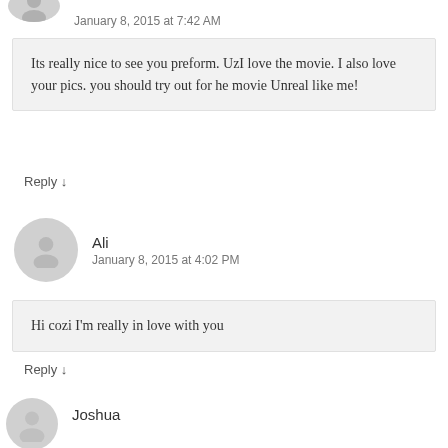January 8, 2015 at 7:42 AM
Its really nice to see you preform. UzI love the movie. I also love your pics. you should try out for he movie Unreal like me!
Reply ↓
Ali
January 8, 2015 at 4:02 PM
Hi cozi I'm really in love with you
Reply ↓
Joshua